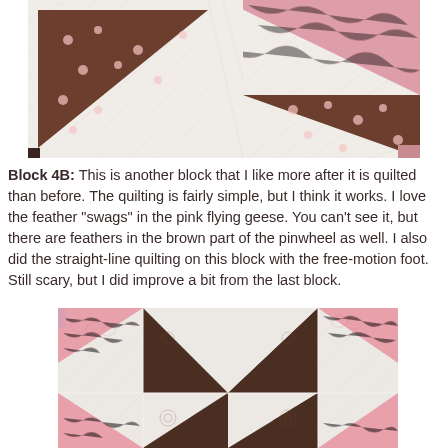[Figure (photo): Close-up photo of a quilt block showing brown polka-dot fabric triangles (flying geese pattern) on a white quilted background with pink fabric accents.]
Block 4B: This is another block that I like more after it is quilted than before. The quilting is fairly simple, but I think it works. I love the feather "swags" in the pink flying geese. You can't see it, but there are feathers in the brown part of the pinwheel as well. I also did the straight-line quilting on this block with the free-motion foot. Still scary, but I did improve a bit from the last block.
[Figure (photo): Photo of a quilt block showing a pinwheel pattern with alternating pink and brown/dark triangles arranged in a pinwheel design on a white quilted background, with pink flying geese blocks in the corners.]